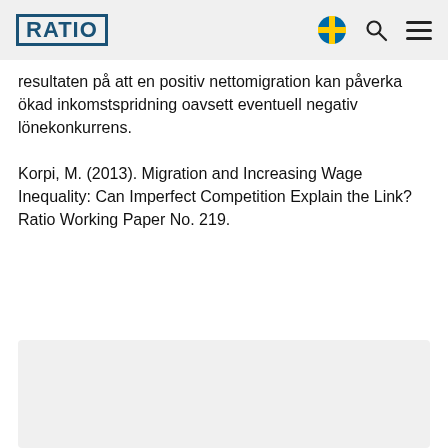RATIO
resultaten på att en positiv nettomigration kan påverka ökad inkomstspridning oavsett eventuell negativ lönekonkurrens.
Korpi, M. (2013). Migration and Increasing Wage Inequality: Can Imperfect Competition Explain the Link? Ratio Working Paper No. 219.
[Figure (other): Gray shaded box area at the bottom of the page]